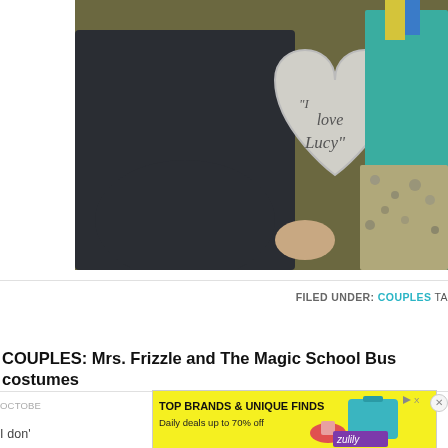[Figure (photo): Two people in costumes, one holding a heart-shaped sign that reads 'I Love Lucy'. One person is wearing a dark blazer, the other is wearing a teal top with a patterned skirt. The background is a dark olive/yellow color.]
FILED UNDER: COUPLES TA...
COUPLES: Mrs. Frizzle and The Magic School Bus costumes
OCTOBE...
I don't...
[Figure (screenshot): Advertisement banner: 'TOP BRANDS & UNIQUE FINDS — Daily deals up to 70% off' with Zulily branding, shoe and bag images.]